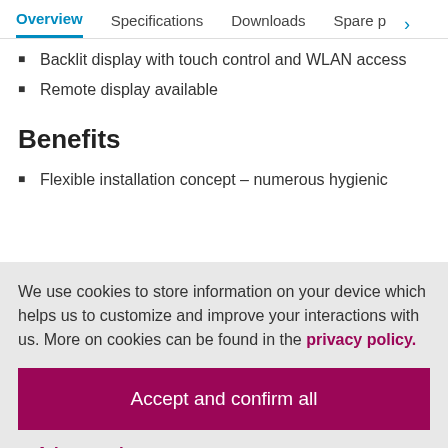Overview | Specifications | Downloads | Spare p >
Backlit display with touch control and WLAN access
Remote display available
Benefits
Flexible installation concept – numerous hygienic
We use cookies to store information on your device which helps us to customize and improve your interactions with us. More on cookies can be found in the privacy policy.
Accept and confirm all
Adapt settings